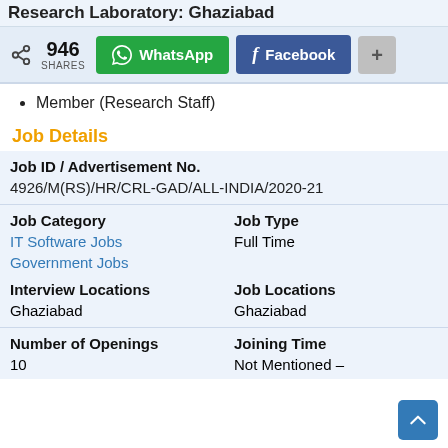Research Laboratory: Ghaziabad
[Figure (other): Share bar with 946 SHARES, WhatsApp button, Facebook button, and plus button]
Member (Research Staff)
Job Details
| Job ID / Advertisement No. |  |
| --- | --- |
| 4926/M(RS)/HR/CRL-GAD/ALL-INDIA/2020-21 |  |
| Job Category | Job Type |
| IT Software Jobs
Government Jobs | Full Time |
| Interview Locations | Job Locations |
| Ghaziabad | Ghaziabad |
| Number of Openings | Joining Time |
| 10 | Not Mentioned – |